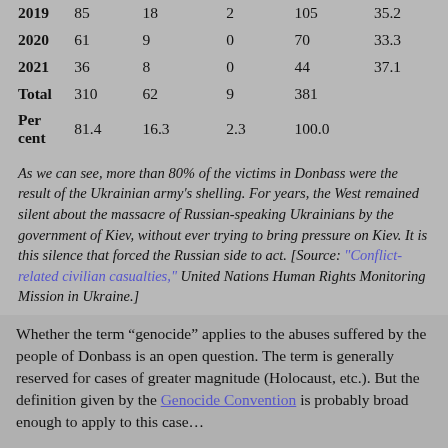| 2019 | 85 | 18 | 2 | 105 | 35.2 |
| 2020 | 61 | 9 | 0 | 70 | 33.3 |
| 2021 | 36 | 8 | 0 | 44 | 37.1 |
| Total | 310 | 62 | 9 | 381 |  |
| Per cent | 81.4 | 16.3 | 2.3 | 100.0 |  |
As we can see, more than 80% of the victims in Donbass were the result of the Ukrainian army's shelling. For years, the West remained silent about the massacre of Russian-speaking Ukrainians by the government of Kiev, without ever trying to bring pressure on Kiev. It is this silence that forced the Russian side to act. [Source: "Conflict-related civilian casualties," United Nations Human Rights Monitoring Mission in Ukraine.]
Whether the term “genocide” applies to the abuses suffered by the people of Donbass is an open question. The term is generally reserved for cases of greater magnitude (Holocaust, etc.). But the definition given by the Genocide Convention is probably broad enough to apply to this case…